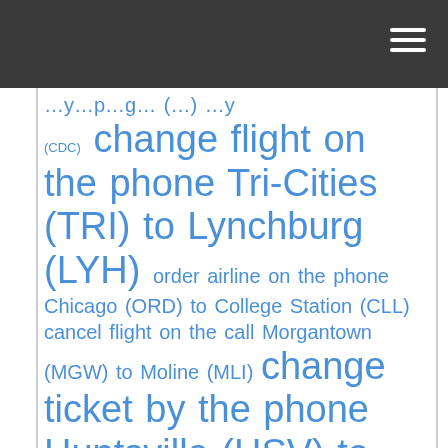(CDC) change flight on the phone Tri-Cities (TRI) to Lynchburg (LYH) order airline on the phone Chicago (ORD) to College Station (CLL) cancel flight on the call Morgantown (MGW) to Moline (MLI) change ticket by the phone Huntsville (HSV) to Pittsburgh (PIT) cancellation ticket by the phone McAllen (MFE) - Rota Island (GRO) book flight on the phone Christiansted, St. Croix (STX) to Amarillo (AMA) cancel ticket flight by the phone Portland (PDX) - Jackson Hole (JAC) rebooking airline by the phone Philadelphia (PHL) - Charlotte Amalie, St. Thomas (STT)